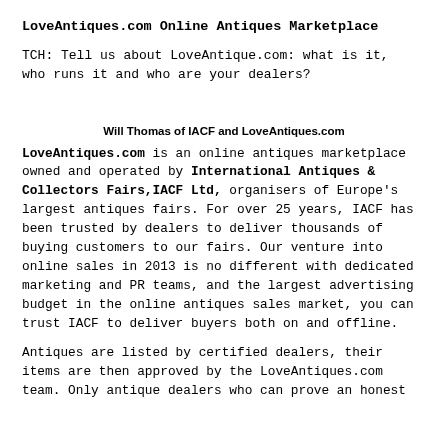LoveAntiques.com Online Antiques Marketplace
TCH: Tell us about LoveAntique.com: what is it, who runs it and who are your dealers?
Will Thomas of IACF and LoveAntiques.com
LoveAntiques.com is an online antiques marketplace owned and operated by International Antiques & Collectors Fairs,IACF Ltd, organisers of Europe's largest antiques fairs. For over 25 years, IACF has been trusted by dealers to deliver thousands of buying customers to our fairs. Our venture into online sales in 2013 is no different with dedicated marketing and PR teams, and the largest advertising budget in the online antiques sales market, you can trust IACF to deliver buyers both on and offline.
Antiques are listed by certified dealers, their items are then approved by the LoveAntiques.com team. Only antique dealers who can prove an honest